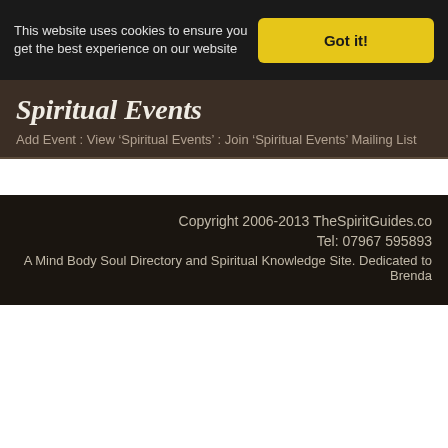This website uses cookies to ensure you get the best experience on our website
Got it!
Spiritual Events
Add Event : View ‘Spiritual Events’ : Join ‘Spiritual Events’ Mailing List
Copyright 2006-2013 TheSpiritGuides.co
Tel: 07967 595893
A Mind Body Soul Directory and Spiritual Knowledge Site. Dedicated to Brenda